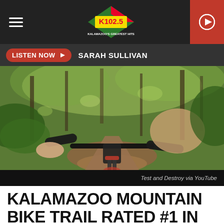K102.5 - Kalamazoo's Greatest Hits
LISTEN NOW  SARAH SULLIVAN
[Figure (photo): First-person POV mountain biking shot on a forest trail, showing the handlebars and a dirt path through green woods]
Test and Destroy via YouTube
KALAMAZOO MOUNTAIN BIKE TRAIL RATED #1 IN MICHIGAN